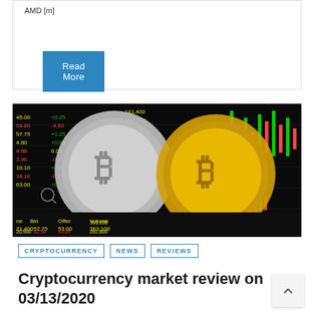AMD [m]
Read More
[Figure (photo): Two Bitcoin coins (one silver, one gold) displayed against a stock market trading screen showing bid, offer, volume data and candlestick charts]
CRYPTOCURRENCY  NEWS  REVIEWS
Cryptocurrency market review on 03/13/2020